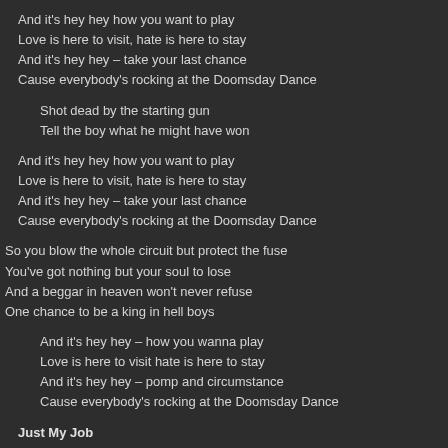And it's hey hey how you want to play
Love is here to visit, hate is here to stay
And it's hey hey – take your last chance
Cause everybody's rocking at the Doomsday Dance
Shot dead by the starting gun
Tell the boy what he might have won
And it's hey hey how you want to play
Love is here to visit, hate is here to stay
And it's hey hey – take your last chance
Cause everybody's rocking at the Doomsday Dance
So you blow the whole circuit but protect the fuse
You've got nothing but your soul to lose
And a beggar in heaven won't never refuse
One chance to be a king in hell boys
And it's hey hey – how you wanna play
Love is here to visit hate is here to stay
And it's hey hey – pomp and circumstance
Cause everybody's rocking at the Doomsday Dance
Just My Job
(John Wheeler)
from the John Wheeler album "Difficult #2 Album" (2016)